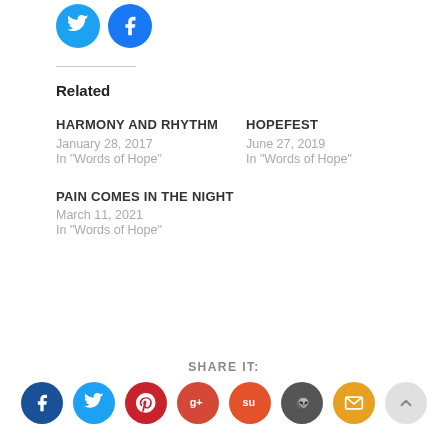[Figure (other): Twitter and Facebook circular social share buttons at top]
Related
HARMONY AND RHYTHM
January 28, 2017
In "Words of Hope"
HOPEFEST
June 27, 2019
In "Words of Hope"
PAIN COMES IN THE NIGHT
March 11, 2021
In "Words of Hope"
SHARE IT:
[Figure (other): Row of social share icon buttons: Facebook, Twitter, Pinterest, Google+, StumbleUpon, Reddit, Email, scroll-to-top]